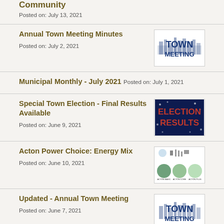Community
Posted on: July 13, 2021
Annual Town Meeting Minutes
Posted on: July 2, 2021
[Figure (illustration): TOWN MEETING logo with blue text and city skyline graphic]
Municipal Monthly - July 2021
Posted on: July 1, 2021
Special Town Election - Final Results Available
Posted on: June 9, 2021
[Figure (illustration): ELECTION RESULTS graphic with red text on blue/sparkle background]
Acton Power Choice: Energy Mix
Posted on: June 10, 2021
[Figure (illustration): Energy mix diagram with green circles and icons]
Updated - Annual Town Meeting
Posted on: June 7, 2021
[Figure (illustration): TOWN MEETING logo with blue text and city skyline graphic]